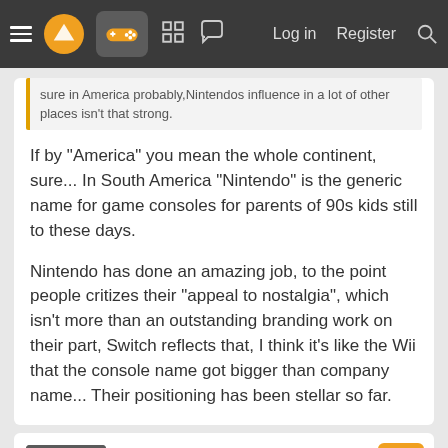Navigation bar with menu, logo, controller icon, grid icon, chat icon, Log in, Register, Search
sure in America probably,Nintendos influence in a lot of other places isn't that strong.
If by "America" you mean the whole continent, sure... In South America "Nintendo" is the generic name for game consoles for parents of 90s kids still to these days.

Nintendo has done an amazing job, to the point people critizes their "appeal to nostalgia", which isn't more than an outstanding branding work on their part, Switch reflects that, I think it's like the Wii that the console name got bigger than company name... Their positioning has been stellar so far.
ParaSeoul
Banned
Dec 7, 2021   #208